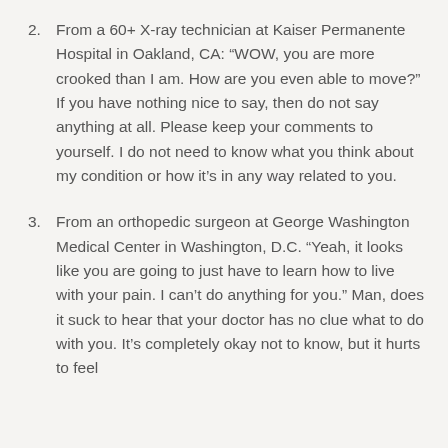2. From a 60+ X-ray technician at Kaiser Permanente Hospital in Oakland, CA: “WOW, you are more crooked than I am. How are you even able to move?” If you have nothing nice to say, then do not say anything at all. Please keep your comments to yourself. I do not need to know what you think about my condition or how it’s in any way related to you.
3. From an orthopedic surgeon at George Washington Medical Center in Washington, D.C. “Yeah, it looks like you are going to just have to learn how to live with your pain. I can’t do anything for you.” Man, does it suck to hear that your doctor has no clue what to do with you. It’s completely okay not to know, but it hurts to feel